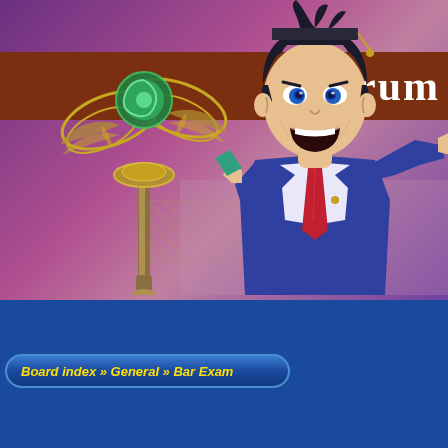[Figure (illustration): Forum banner showing an anime-style character in a blue suit pointing forward, with a decorative green and gold scepter on the left side. Background is pink/purple. The text 'Forum' appears on a brown bar at the top right.]
Login | Court-Records.Net | Beta | Discord | Register
Board index » General » Bar Exam
Page 1 of 1[ 8 posts ]